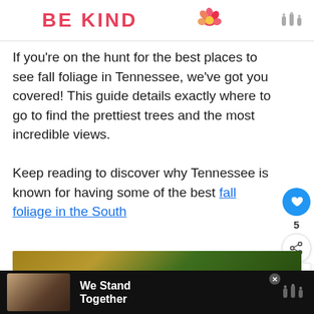[Figure (illustration): Top banner with 'BE KIND' text in red/coral letters and decorative flower illustration, plus logo]
If you’re on the hunt for the best places to see fall foliage in Tennessee, we’ve got you covered! This guide details exactly where to go to find the prettiest trees and the most incredible views.
Keep reading to discover why Tennessee is known for having some of the best fall foliage in the South
[Figure (photo): Partial view of fall foliage image at bottom]
[Figure (photo): Bottom advertisement bar showing group of people with 'We Stand Together' text on dark background with logo]